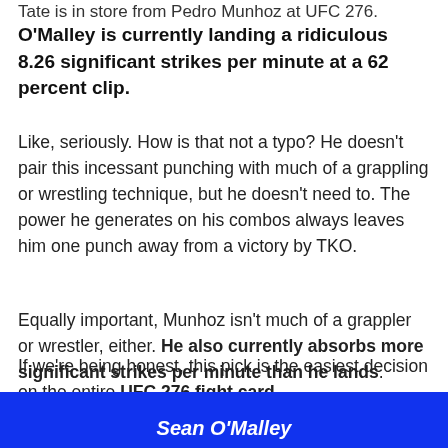Tate is in store from Pedro Munhoz at UFC 276.
O'Malley is currently landing a ridiculous 8.26 significant strikes per minute at a 62 percent clip. Like, seriously. How is that not a typo? He doesn't pair this incessant punching with much of a grappling or wrestling technique, but he doesn't need to. The power he generates on his combos always leaves him one punch away from a victory by TKO.
Equally important, Munhoz isn't much of a grappler or wrestler, either. He also currently absorbs more significant strikes per minute than he lands.
If we're being honest, this pick is the easiest decision on the entire UFC 276 fight card.
OSB Prediction: Sean O'Malley (-260)
[Figure (other): Blue banner at bottom with white italic text partially visible reading Sean O'Malley]